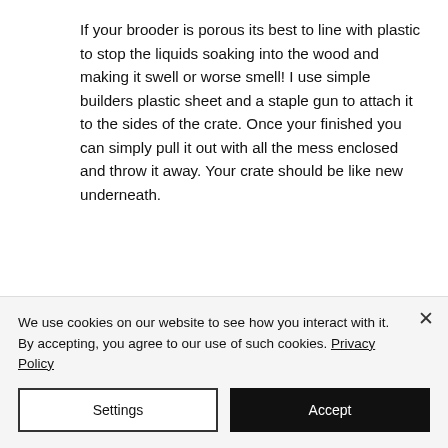If your brooder is porous its best to line with plastic to stop the liquids soaking into the wood and making it swell or worse smell! I use simple builders plastic sheet and a staple gun to attach it to the sides of the crate. Once your finished you can simply pull it out with all the mess enclosed and throw it away. Your crate should be like new underneath.
We use cookies on our website to see how you interact with it. By accepting, you agree to our use of such cookies. Privacy Policy